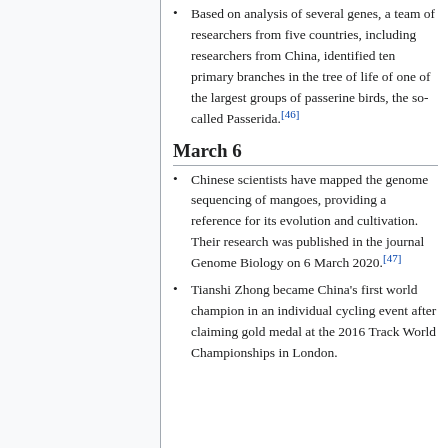Based on analysis of several genes, a team of researchers from five countries, including researchers from China, identified ten primary branches in the tree of life of one of the largest groups of passerine birds, the so-called Passerida.[46]
March 6
Chinese scientists have mapped the genome sequencing of mangoes, providing a reference for its evolution and cultivation. Their research was published in the journal Genome Biology on 6 March 2020.[47]
Tianshi Zhong became China's first world champion in an individual cycling event after claiming gold medal at the 2016 Track World Championships in London.